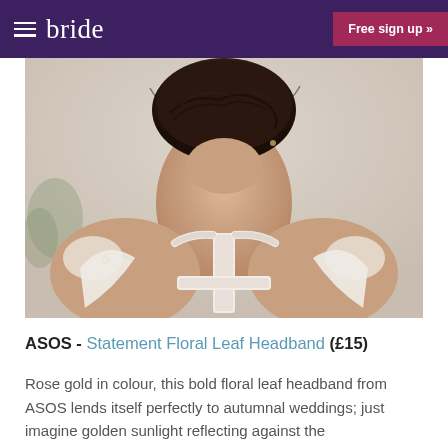bride | Free sign up »
[Figure (photo): Back view of a woman with dark hair in an updo, wearing a white lace/sheer wedding dress, shot from behind showing her bare upper back and the strappy back of the dress]
ASOS - Statement Floral Leaf Headband (£15)
Rose gold in colour, this bold floral leaf headband from ASOS lends itself perfectly to autumnal weddings; just imagine golden sunlight reflecting against the embellishments as you walk among the crispy auburn